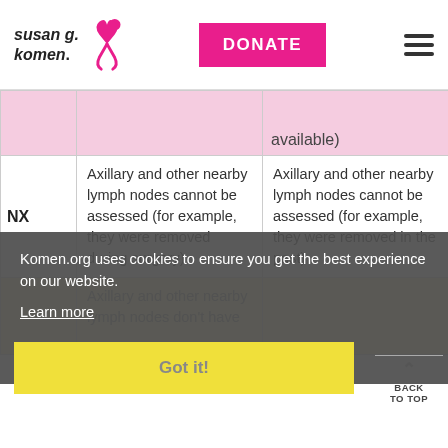Susan G. Komen — DONATE navigation bar
|  | Clinical Definition | Pathological Definition |
| --- | --- | --- |
|  | available) | available) |
| NX | Axillary and other nearby lymph nodes cannot be assessed (for example, they were removed during surgery) | Axillary and other nearby lymph nodes cannot be assessed (for example, they were removed in the past) |
|  | Axillary and other nearby lymph nodes don't have |  |
Komen.org uses cookies to ensure you get the best experience on our website. Learn more
Got it!